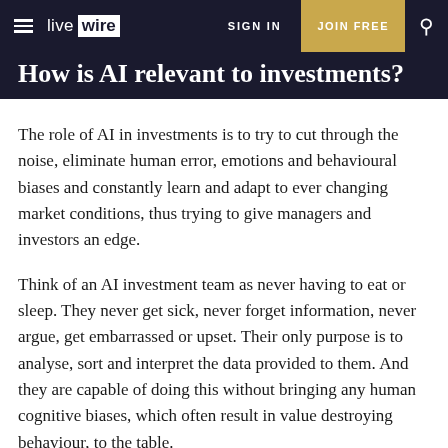live wire | SIGN IN | JOIN FREE
How is AI relevant to investments?
The role of AI in investments is to try to cut through the noise, eliminate human error, emotions and behavioural biases and constantly learn and adapt to ever changing market conditions, thus trying to give managers and investors an edge.
Think of an AI investment team as never having to eat or sleep. They never get sick, never forget information, never argue, get embarrassed or upset. Their only purpose is to analyse, sort and interpret the data provided to them. And they are capable of doing this without bringing any human cognitive biases, which often result in value destroying behaviour, to the table.